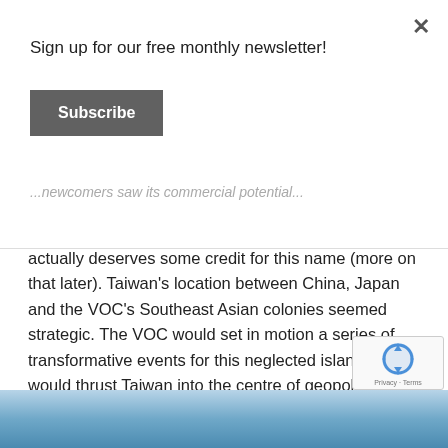Sign up for our free monthly newsletter!
Subscribe
...newcomers saw its commercial potential...
That island came to be called Taiwan, and the Dutch actually deserves some credit for this name (more on that later). Taiwan's location between China, Japan and the VOC's Southeast Asian colonies seemed strategic. The VOC would set in motion a series of transformative events for this neglected island. It would thrust Taiwan into the centre of geopolitical rivalries between Asian-Pacific giants for centuries to come.
[Figure (photo): Partial view of a blue sky/ocean photograph at the bottom of the page]